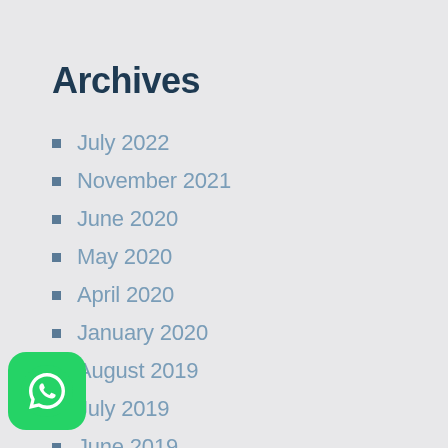Archives
July 2022
November 2021
June 2020
May 2020
April 2020
January 2020
August 2019
July 2019
June 2019
March 2019
February 2019
[Figure (logo): WhatsApp green logo icon in bottom-left corner]